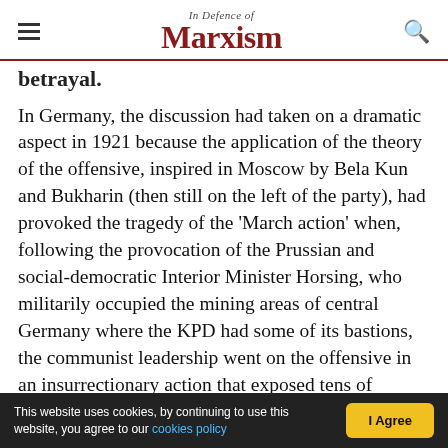In Defence of Marxism
Betrayal.
In Germany, the discussion had taken on a dramatic aspect in 1921 because the application of the theory of the offensive, inspired in Moscow by Bela Kun and Bukharin (then still on the left of the party), had provoked the tragedy of the 'March action' when, following the provocation of the Prussian and social-democratic Interior Minister Horsing, who militarily occupied the mining areas of central Germany where the KPD had some of its bastions, the communist leadership went on the offensive in an insurrectionary action that exposed tens of
This website uses cookies, by continuing to use this website, you agree to our cookies policy  I Agree